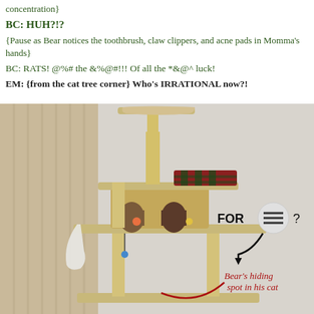concentration}
BC: HUH?!?
{Pause as Bear notices the toothbrush, claw clippers, and acne pads in Momma's hands}
BC: RATS! @%# the &%@#!!! Of all the *&@^ luck!
EM: {from the cat tree corner} Who's IRRATIONAL now?!
[Figure (photo): Photo of a multi-level beige cat tree with sisal rope posts, a top perch with a tan blanket, a middle level with a plaid blanket, a house/condo unit with two arched openings and small toy figurines inside. Text annotations on the photo in red cursive read 'Bear's hiding spot in his cat' and in black block letters 'FOR ≡ ?' with an arrow pointing down toward the cat tree condo area. A white cloth hangs from one of the lower platforms. Beige curtain visible in background.]